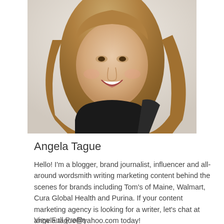[Figure (photo): Headshot photo of Angela Tague, a woman with long wavy blonde-brown hair, smiling, wearing a black top, against a light background.]
Angela Tague
Hello! I'm a blogger, brand journalist, influencer and all-around wordsmith writing marketing content behind the scenes for brands including Tom's of Maine, Walmart, Cura Global Health and Purina. If your content marketing agency is looking for a writer, let's chat at angela.tague@yahoo.com today!
View Full Profile